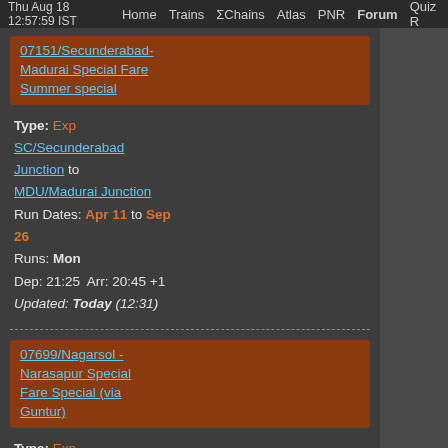Thu Aug 18 12:57:59 IST  Home  Trains  ΣChains  Atlas  PNR  Forum  Quiz R
07151/Secunderabad-Madurai Special Fare Summer special
Type: Exp
SC/Secunderabad Junction to MDU/Madurai Junction
Run Dates: Apr 11 to Sep 26
Runs: Mon
Dep: 21:25  Arr: 20:45 +1
Updated: Today (12:31)
07699/Nagarsol - Narasapur Special Fare Special (via Guntur)
Type: Exp
NSL/Nagarsol to NS/Narasapur
Run Dates: Aug 06 to Oct 01
Runs: Sat
Dep: 22:00  Arr: 21:30 +1